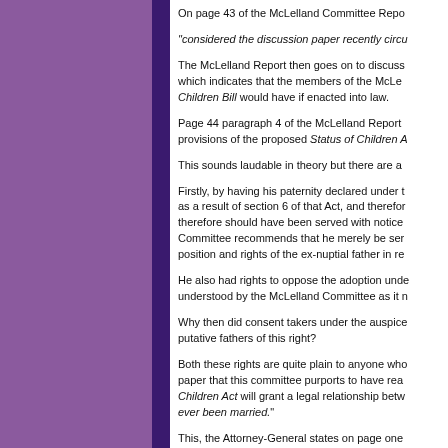On page 43 of the McLelland Committee Repo...
“considered the discussion paper recently circu...
The McLelland Report then goes on to discuss... which indicates that the members of the McLe... Children Bill would have if enacted into law.
Page 44 paragraph 4 of the McLelland Report... provisions of the proposed Status of Children A...
This sounds laudable in theory but there are a...
Firstly, by having his paternity declared under t... as a result of section 6 of that Act, and therefor... therefore should have been served with notice... Committee recommends that he merely be ser... position and rights of the ex-nuptial father in re...
He also had rights to oppose the adoption und... understood by the McLelland Committee as it n...
Why then did consent takers under the auspice... putative fathers of this right?
Both these rights are quite plain to anyone who... paper that this committee purports to have rea... Children Act will grant a legal relationship betw... ever been married.”
This, the Attorney-General states on page one...